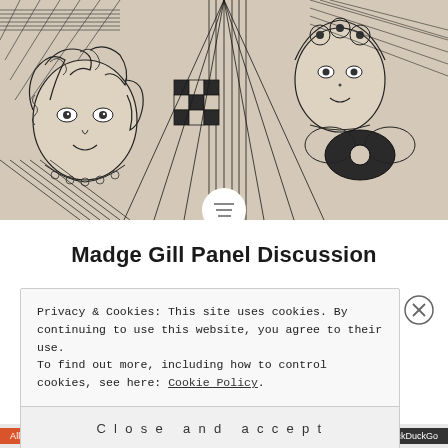[Figure (illustration): Black and white intricate pen-and-ink drawing by Madge Gill featuring stylized female faces with curly hair, decorative floral and geometric patterns, hatching, and dense surrealist imagery on a cream/beige background.]
Madge Gill Panel Discussion
Privacy & Cookies: This site uses cookies. By continuing to use this website, you agree to their use.
To find out more, including how to control cookies, see here: Cookie Policy
Close and accept
[Figure (screenshot): Bottom advertisement bar showing orange 'All-in-One Free App' button and DuckDuckGo branding on dark background]